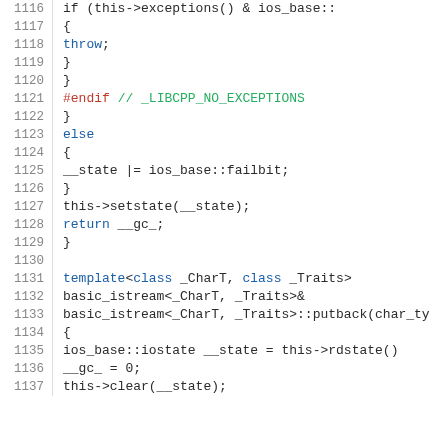[Figure (screenshot): Source code viewer showing C++ code lines 1116-1137. Lines are numbered on the left, with syntax highlighting: keywords in blue, preprocessor directives in red, identifiers in dark/olive colors.]